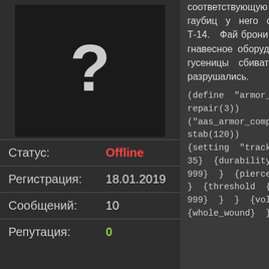[Figure (illustration): User avatar placeholder with question mark on dark background]
| Статус: | Offline |
| Регистрация: | 18.01.2019 |
| Сообщений: | 10 |
| Репутация: | 0 |
соответствующую броню, но за 2- выстрела из 152-155м гаубиц у него отлетае башня. Проверял н модели Т-14. Фай брони есть ниже, в че ошибка? Нужно чтоб гнавесное оборудование, оруди могло ломаться, гусеницы сбиваться, н чтобы корпус и башня н разрушались.
(define "armor_leviathan" ("components_tank" repair(3)) {armo ("aas_armor_components stab(120)) {setting "track" {thicknes 35} {durability {blast {koe 999} } {pierce {koef 999} } {threshold {blast {koe 999} } } {volumes "track* {whole_wound} }